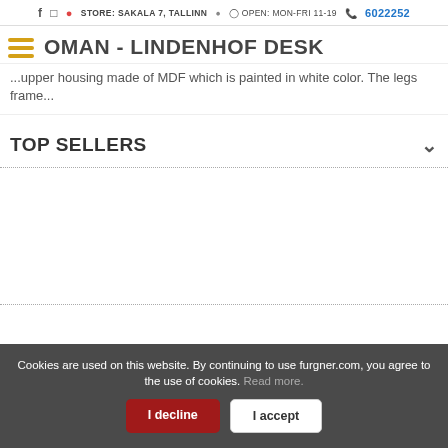f  □  STORE: SAKALA 7, TALLINN   OPEN: MON-FRI 11-19   6022252
OMAN - LINDENHOF DESK
...upper housing made of MDF which is painted in white color. The legs frame...
TOP SELLERS
Cookies are used on this website. By continuing to use furgner.com, you agree to the use of cookies. Read more.